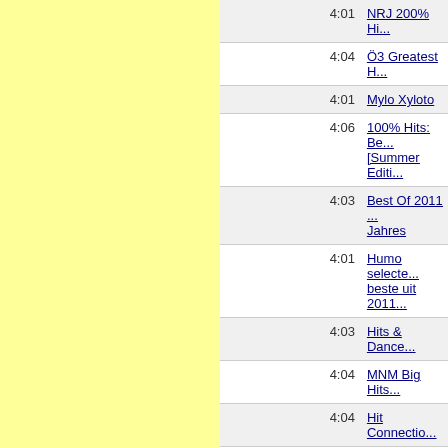| Track | Duration | Album |
| --- | --- | --- |
|  | 4:01 | NRJ 200% Hi... |
|  | 4:04 | Ö3 Greatest H... |
|  | 4:01 | Mylo Xyloto |
|  | 4:06 | 100% Hits: Be... [Summer Editi... |
|  | 4:03 | Best Of 2011 ... Jahres |
|  | 4:01 | Humo selecte... beste uit 2011... |
|  | 4:03 | Hits & Dance... |
|  | 4:04 | MNM Big Hits... |
|  | 4:04 | Hit Connectio... |
|  | 4:02 | Hitbox - Best ... |
|  | 4:02 | Maximum Hit ... 2011 |
| We Don't Belong In Pacha Club Remix | 3:22 | Kontor - Top O... Volume 53 |
|  | 4:04 | Paradise [Pro... |
|  | 4:03 | Energy NRJ H... Best Of 2012... |